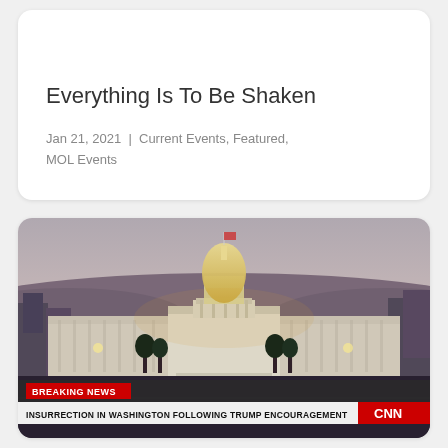Everything Is To Be Shaken
Jan 21, 2021 | Current Events, Featured, MOL Events
[Figure (screenshot): CNN breaking news screenshot showing the U.S. Capitol building at dusk/dawn with a CNN breaking news banner reading: BREAKING NEWS — INSURRECTION IN WASHINGTON FOLLOWING TRUMP ENCOURAGEMENT]